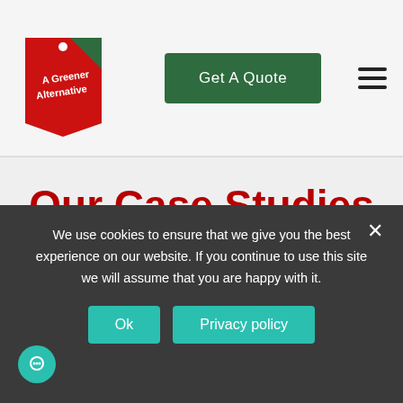[Figure (logo): A Greener Alternative logo - red tag shape with green corner and white text]
[Figure (other): Get A Quote button - dark green rounded rectangle with white text]
[Figure (other): Hamburger menu icon - three horizontal black lines]
Our Case Studies
Check out our case studies to see some of the installations we have undertaken, from domestic housing, stately homes and prestigious National Trust sites, to
We use cookies to ensure that we give you the best experience on our website. If you continue to use this site we will assume that you are happy with it.
Ok
Privacy policy